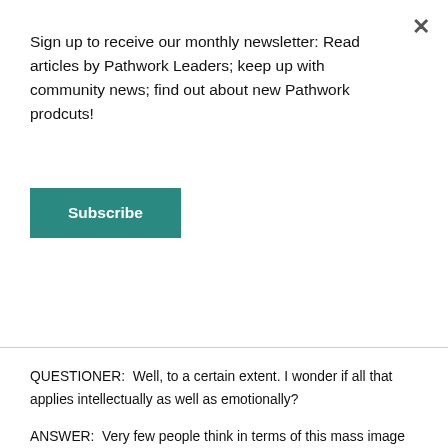Sign up to receive our monthly newsletter: Read articles by Pathwork Leaders; keep up with community news; find out about new Pathwork prodcuts!
Subscribe
process. Do you understand?
QUESTIONER:  Well, to a certain extent. I wonder if all that applies intellectually as well as emotionally?
ANSWER:  Very few people think in terms of this mass image intellectually, my dear. It is rarely on the surface, since all images are of an unconscious nature. You may ask anyone, at random, whether he believes in his intellect that his life and happiness depend on what other people think of him. Everyone prefers to be thought well of by others. That is natural. But the degree of dependency, its consequences, and the extent to which a person